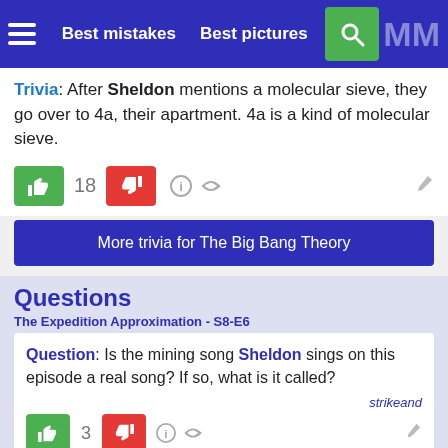Best mistakes   Best pictures
Trivia: After Sheldon mentions a molecular sieve, they go over to 4a, their apartment. 4a is a kind of molecular sieve.
18
More trivia for The Big Bang Theory
Questions
The Expedition Approximation - S8-E6
Question: Is the mining song Sheldon sings on this episode a real song? If so, what is it called?
strikeand
3
Chosen answer: The song is called "Dark as a Dungoon" and was writton and first performed by